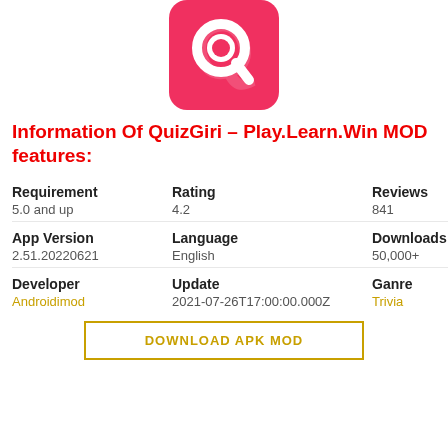[Figure (logo): QuizGiri app logo: pink/red rounded square with white Q letter and magnifying glass icon]
Information Of QuizGiri – Play.Learn.Win MOD features:
| Requirement | Rating | Reviews |
| --- | --- | --- |
| 5.0 and up | 4.2 | 841 |
| App Version | Language | Downloads |
| 2.51.20220621 | English | 50,000+ |
| Developer | Update | Ganre |
| Androidimod | 2021-07-26T17:00:00.000Z | Trivia |
DOWNLOAD APK MOD